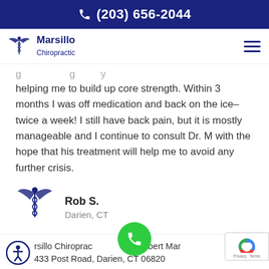(203) 656-2044
[Figure (logo): Marsillo Chiropractic logo with caduceus angel figure]
helping me to build up core strength. Within 3 months I was off medication and back on the ice–twice a week! I still have back pain, but it is mostly manageable and I continue to consult Dr. M with the hope that his treatment will help me to avoid any further crisis.
Rob S.
Darien, CT
rsillo Chiropractic | Dr. Robert Mar | 433 Post Road, Darien, CT 06820